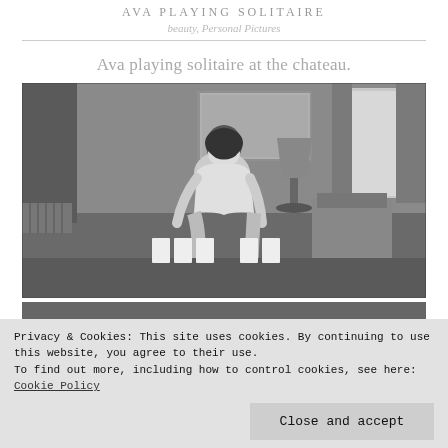AVA PLAYING SOLITAIRE
beauty, Personal Pictures
Ava playing solitaire at the chateau.
[Figure (photo): Black and white photograph of a woman in lingerie sitting and playing solitaire in a chateau room with furniture, lamp, curtains and artwork visible in the background.]
Privacy & Cookies: This site uses cookies. By continuing to use this website, you agree to their use.
To find out more, including how to control cookies, see here: Cookie Policy
Close and accept